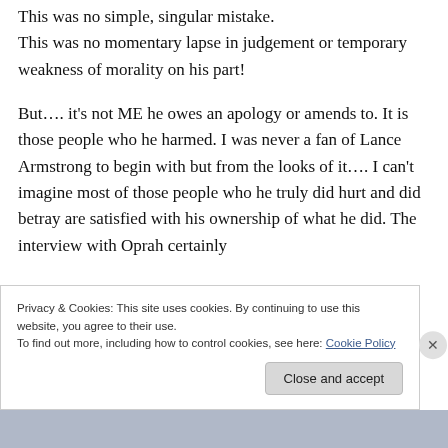This was no simple, singular mistake. This was no momentary lapse in judgement or temporary weakness of morality on his part!
But…. it's not ME he owes an apology or amends to. It is those people who he harmed. I was never a fan of Lance Armstrong to begin with but from the looks of it…. I can't imagine most of those people who he truly did hurt and did betray are satisfied with his ownership of what he did. The interview with Oprah certainly
Privacy & Cookies: This site uses cookies. By continuing to use this website, you agree to their use. To find out more, including how to control cookies, see here: Cookie Policy